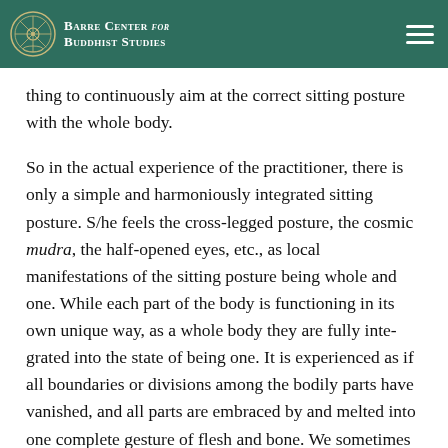Barre Center for Buddhist Studies
thing to continuously aim at the correct sitting posture with the whole body.
So in the actual experience of the practitioner, there is only a simple and harmoniously integrated sitting posture. S/he feels the cross-legged posture, the cosmic mudra, the half-opened eyes, etc., as local manifestations of the sitting posture being whole and one. While each part of the body is functioning in its own unique way, as a whole body they are fully integrated into the state of being one. It is experienced as if all boundaries or divisions among the bodily parts have vanished, and all parts are embraced by and melted into one complete gesture of flesh and bone. We sometimes feel during zazen that our hands or legs have vanished or gone away.